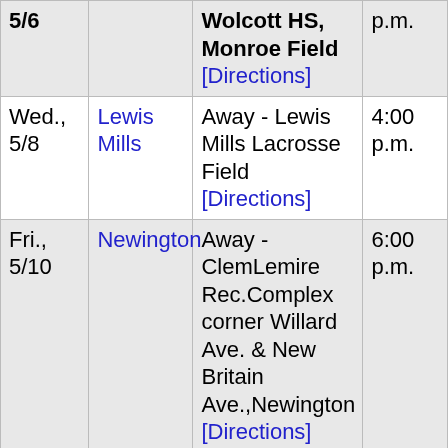| Date | Opponent | Location | Time |
| --- | --- | --- | --- |
| 5/6 |  | Wolcott HS, Monroe Field [Directions] | p.m. |
| Wed., 5/8 | Lewis Mills | Away - Lewis Mills Lacrosse Field [Directions] | 4:00 p.m. |
| Fri., 5/10 | Newington | Away - ClemLemire Rec.Complex corner Willard Ave. & New Britain Ave.,Newington [Directions] | 6:00 p.m. |
| Tue. | Bristol | Home | 4:30 |